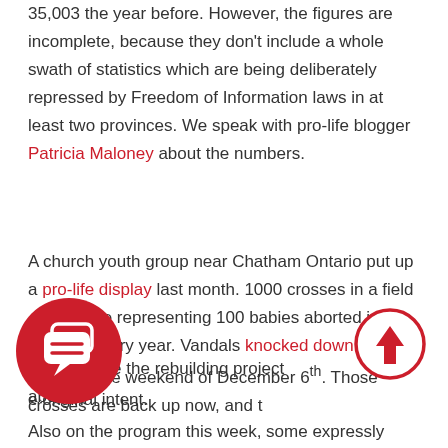35,003 the year before. However, the figures are incomplete, because they don't include a whole swath of statistics which are being deliberately repressed by Freedom of Information laws in at least two provinces. We speak with pro-life blogger Patricia Maloney about the numbers.
A church youth group near Chatham Ontario put up a pro-life display last month. 1000 crosses in a field – each one representing 100 babies aborted in Canada every year. Vandals knocked down every cross on the weekend of December 6th. Those crosses are back up now, and the [vandals] decided to make the rebuilding project about [more than] the original intent.
Also on the program this week, some expressly Christian